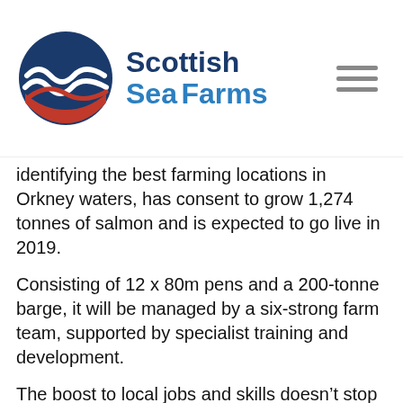Scottish Sea Farms
identifying the best farming locations in Orkney waters, has consent to grow 1,274 tonnes of salmon and is expected to go live in 2019.
Consisting of 12 x 80m pens and a 200-tonne barge, it will be managed by a six-strong farm team, supported by specialist training and development.
The boost to local jobs and skills doesn’t stop there. Independent economic and development consultancy Imani Development estimates that every direct job created by Scottish salmon farming supports up to five further jobs indirectly across the supply chain, creating a potential 30 additional jobs.
Says Richard Darbyshire, Scottish Sea Farms’ Regional Production Manager for Orkney: “This